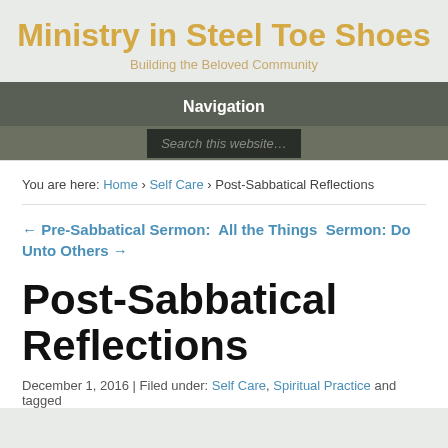Ministry in Steel Toe Shoes
Building the Beloved Community
Navigation
Search this website…
You are here: Home › Self Care › Post-Sabbatical Reflections
← Pre-Sabbatical Sermon: All the Things  Sermon: Do Unto Others →
Post-Sabbatical Reflections
December 1, 2016 | Filed under: Self Care, Spiritual Practice and tagged